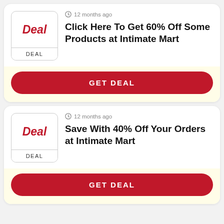12 months ago
Click Here To Get 60% Off Some Products at Intimate Mart
GET DEAL
12 months ago
Save With 40% Off Your Orders at Intimate Mart
GET DEAL